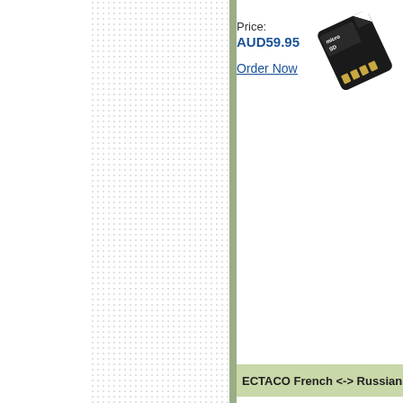Price:
AUD59.95
Order Now
[Figure (photo): Black microSD memory card with microSD label on white background]
ECTACO French <-> Russian microSD